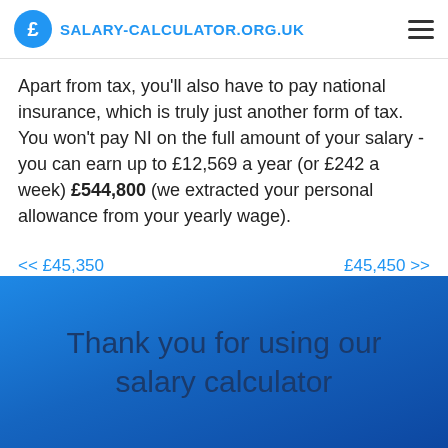SALARY-CALCULATOR.ORG.UK
Apart from tax, you'll also have to pay national insurance, which is truly just another form of tax. You won't pay NI on the full amount of your salary - you can earn up to £12,569 a year (or £242 a week) £544,800 (we extracted your personal allowance from your yearly wage).
<< £45,350    £45,450 >>
Thank you for using our salary calculator